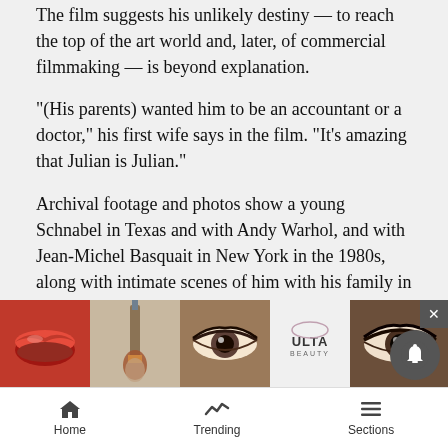The film suggests his unlikely destiny — to reach the top of the art world and, later, of commercial filmmaking — is beyond explanation.
"(His parents) wanted him to be an accountant or a doctor," his first wife says in the film. "It's amazing that Julian is Julian."
Archival footage and photos show a young Schnabel in Texas and with Andy Warhol, and with Jean-Michel Basquait in New York in the 1980s, along with intimate scenes of him with his family in Italy and in his New York studio in recent years. We see video of Schnabel smearing paint on a two-story-tall canvas with his hands and we see him throwing a paint-soaked cloth at an even larger canvas outdoors in another. But he reveals...
[Figure (other): Advertisement banner for ULTA beauty products showing close-up images of lips, makeup brushes, eyes, ULTA logo, and SHOP NOW button]
Home   Trending   Sections